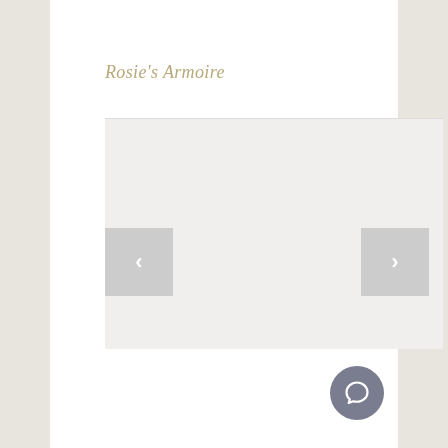Rosie's Armoire
[Figure (screenshot): Image slideshow area with light gray background, navigation arrows on left and right sides, and a circular chat button in the bottom right corner]